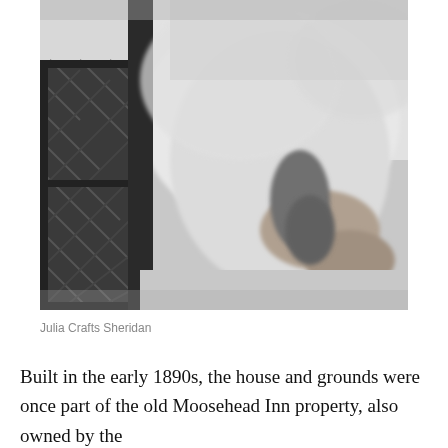[Figure (photo): A black and white photograph, partially blurry, showing a person (Julia Crafts Sheridan) with a dark latticed chair or fence structure visible on the left side. The image is cropped closely showing the upper body area.]
Julia Crafts Sheridan
Built in the early 1890s, the house and grounds were once part of the old Moosehead Inn property, also owned by the